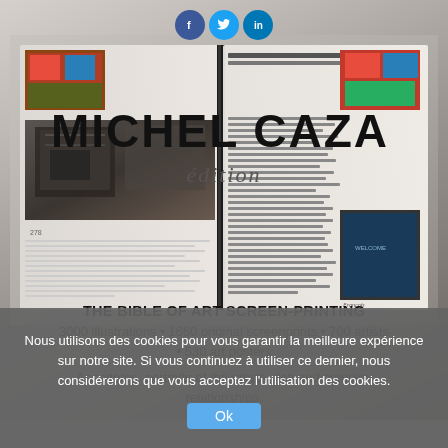[Figure (screenshot): Social media icons: Facebook (blue circle), Twitter (light blue circle), LinkedIn (dark blue circle)]
MICHEL CAZA
édition
[Figure (photo): Open book showing art screen-printing content with photos of printing equipment, colorful artworks, and text pages]
THE BIBLE OF ART SCREEN-PRINTING
3000 illustrations • 1660 original screenprints • 700 artists • 530 art posters
Anecdotes, portraits of the artists, rich and complex relationships.
Nous utilisons des cookies pour vous garantir la meilleure expérience sur notre site. Si vous continuez à utiliser ce dernier, nous considérerons que vous acceptez l'utilisation des cookies.
Ok